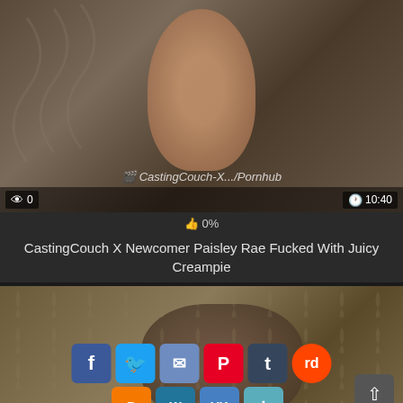[Figure (screenshot): Video thumbnail showing a person, with view count '0', watermark 'CastingCouch-X.../Pornhub', and duration '10:40']
👍 0%
CastingCouch X Newcomer Paisley Rae Fucked With Juicy Creampie
[Figure (screenshot): Second video thumbnail showing two people, with social sharing buttons: Facebook, Twitter, Email, Pinterest, Tumblr, Reddit, Blogger, WordPress, VK, More, and a scroll-to-top button]